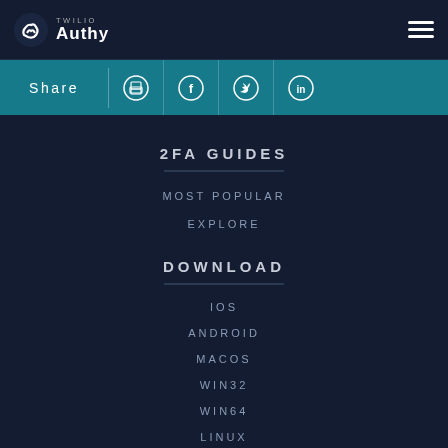Twilio Authy
Share
2FA GUIDES
MOST POPULAR
EXPLORE
DOWNLOAD
IOS
ANDROID
MACOS
WIN32
WIN64
LINUX